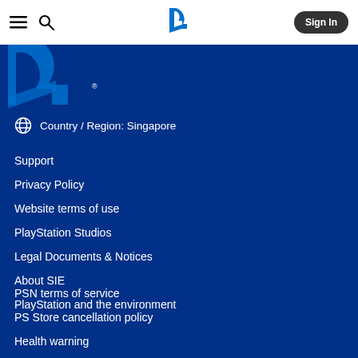PlayStation navigation bar with hamburger menu, search icon, PlayStation logo, and Sign In button
[Figure (logo): PlayStation logo (PS symbol) in blue, partially cropped at top of blue footer section]
Country / Region: Singapore
Support
Privacy Policy
Website terms of use
PlayStation Studios
Legal Documents & Notices
About SIE
PlayStation and the environment
PSN terms of service
PS Store cancellation policy
Health warning
Age ratings